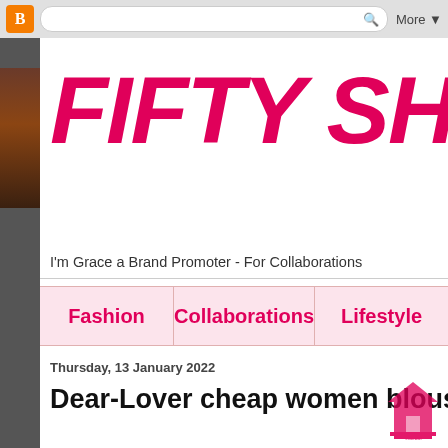Blogger | More ▼
FIFTY SHA
I'm Grace a Brand Promoter - For Collaborations
Fashion | Collaborations | Lifestyle
Thursday, 13 January 2022
Dear-Lover cheap women blouses
Good morning girls, today I begin the new year with a